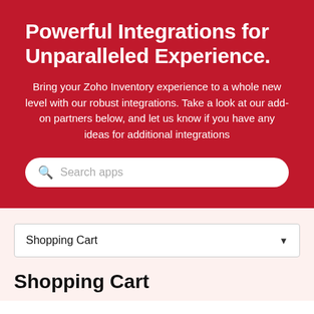Powerful Integrations for Unparalleled Experience.
Bring your Zoho Inventory experience to a whole new level with our robust integrations. Take a look at our add-on partners below, and let us know if you have any ideas for additional integrations
Search apps
Shopping Cart
Shopping Cart